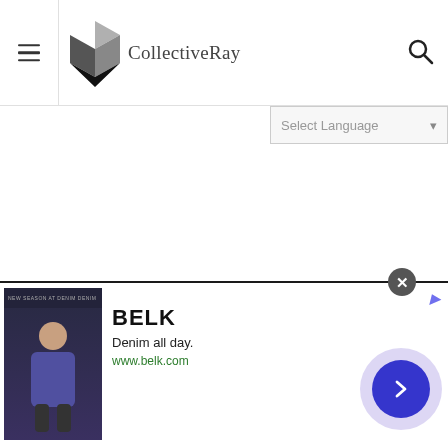CollectiveRay
[Figure (screenshot): Select Language dropdown in header area]
[Figure (screenshot): Advertisement banner for BELK - Denim all day. www.belk.com with close button and navigation arrow]